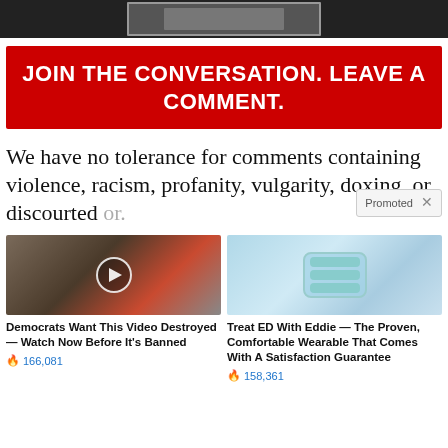[Figure (photo): Partial photo at top of page, dark background with a person's image in a bordered frame]
JOIN THE CONVERSATION. LEAVE A COMMENT.
We have no tolerance for comments containing violence, racism, profanity, vulgarity, doxing, or discourted or.
[Figure (photo): Ad: Democrats Want This Video Destroyed — Watch Now Before It's Banned. Photo of couple with play button overlay. 🔥 166,081]
[Figure (photo): Ad: Treat ED With Eddie — The Proven, Comfortable Wearable That Comes With A Satisfaction Guarantee. Photo of blue wearable device. 🔥 158,361]